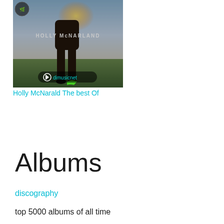[Figure (photo): Album cover for Holly McNarland 'The Best Of' showing a person's legs standing on a field with sunlight, overlaid with dimusicnet watermark logo]
Holly McNarald The best Of
Albums
discography
top 5000 albums of all time